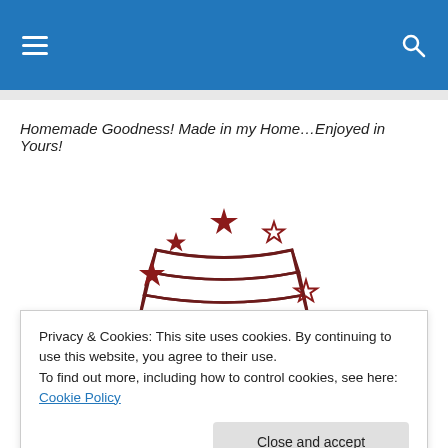[Navigation bar with hamburger menu and search icon]
Homemade Goodness! Made in my Home…Enjoyed in Yours!
[Figure (logo): Stahrs Cakes logo: a stylized layered cake with stars around it and cursive text 'Stahrs Cakes' below in dark red/maroon color]
Privacy & Cookies: This site uses cookies. By continuing to use this website, you agree to their use.
To find out more, including how to control cookies, see here: Cookie Policy
Close and accept